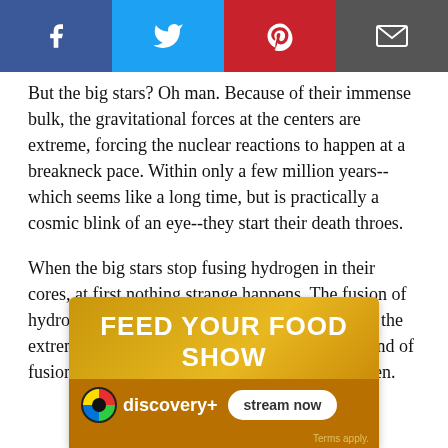[Figure (other): Social sharing bar with Facebook, Twitter, Pinterest, and email buttons]
But the big stars? Oh man. Because of their immense bulk, the gravitational forces at the centers are extreme, forcing the nuclear reactions to happen at a breakneck pace. Within only a few million years--which seems like a long time, but is practically a cosmic blink of an eye--they start their death throes.
When the big stars stop fusing hydrogen in their cores, at first nothing strange happens. The fusion of hydrogen leaves behind helium, which thanks to the extreme pressures is able to ignite in its own round of fusion, surrounded by a layer of burning hydrogen.
[Figure (infographic): Discovery+ advertisement banner: FEED YOUR FOOD SHOW with discovery+ logo and stream now button. Terms apply.]